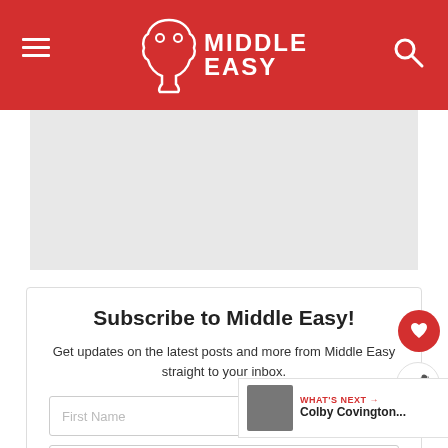Middle Easy
[Figure (other): Gray advertisement banner placeholder]
Subscribe to Middle Easy!
Get updates on the latest posts and more from Middle Easy straight to your inbox.
First Name
Your Email...
SUBSCRIBE
WHAT'S NEXT → Colby Covington...